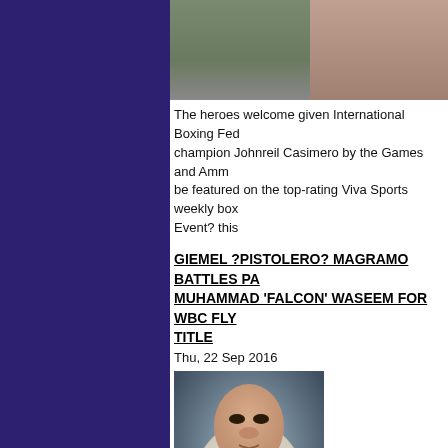[Figure (photo): Two people at an event, one appears to be wearing a boxing belt]
The heroes welcome given International Boxing Fed champion Johnreil Casimero by the Games and Amm be featured on the top-rating Viva Sports weekly box Event? this
GIEMEL ?PISTOLERO? MAGRAMO BATTLES PA MUHAMMAD 'FALCON' WASEEM FOR WBC FLY TITLE
Thu, 22 Sep 2016
[Figure (photo): Boxer Giemel Magramo posing in a white t-shirt with fist raised]
Magramo. The fifth in the exciting Magramo boxing d year old Giemel Magramo, seeks to follow in the foo